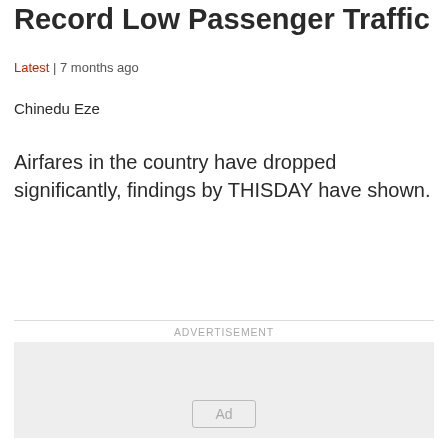Record Low Passenger Traffic
Latest | 7 months ago
Chinedu Eze
Airfares in the country have dropped significantly, findings by THISDAY have shown.
[Figure (other): Advertisement placeholder box with 'Ad' button label]